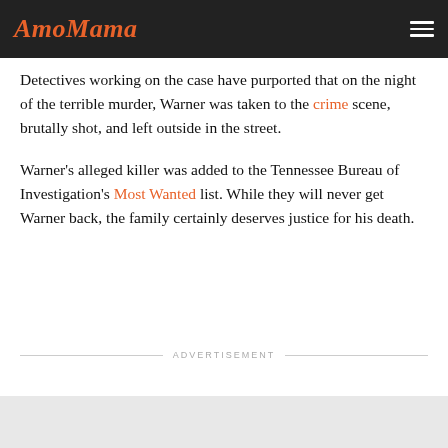AmoMama
Detectives working on the case have purported that on the night of the terrible murder, Warner was taken to the crime scene, brutally shot, and left outside in the street.
Warner's alleged killer was added to the Tennessee Bureau of Investigation's Most Wanted list. While they will never get Warner back, the family certainly deserves justice for his death.
ADVERTISEMENT